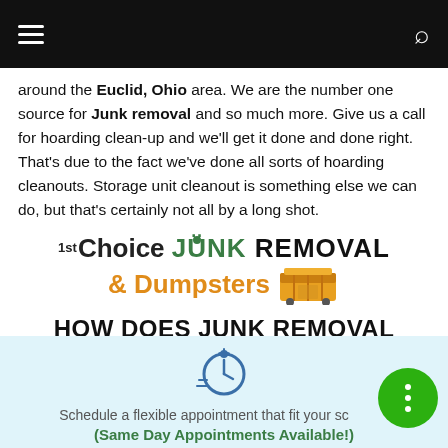Navigation bar with menu and search icons
around the Euclid, Ohio area. We are the number one source for Junk removal and so much more. Give us a call for hoarding clean-up and we'll get it done and done right. That's due to the fact we've done all sorts of hoarding cleanouts. Storage unit cleanout is something else we can do, but that's certainly not all by a long shot.
[Figure (logo): 1st Choice JUNK REMOVAL & Dumpsters logo with dumpster illustration]
HOW DOES JUNK REMOVAL WORK?
[Figure (illustration): Stopwatch/timer icon in blue]
Schedule a flexible appointment that fit your sc (Same Day Appointments Available!)